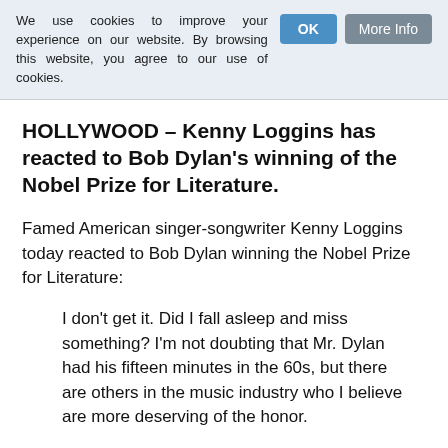We use cookies to improve your experience on our website. By browsing this website, you agree to our use of cookies.
HOLLYWOOD – Kenny Loggins has reacted to Bob Dylan's winning of the Nobel Prize for Literature.
Famed American singer-songwriter Kenny Loggins today reacted to Bob Dylan winning the Nobel Prize for Literature:
I don't get it. Did I fall asleep and miss something? I'm not doubting that Mr. Dylan had his fifteen minutes in the 60s, but there are others in the music industry who I believe are more deserving of the honor.